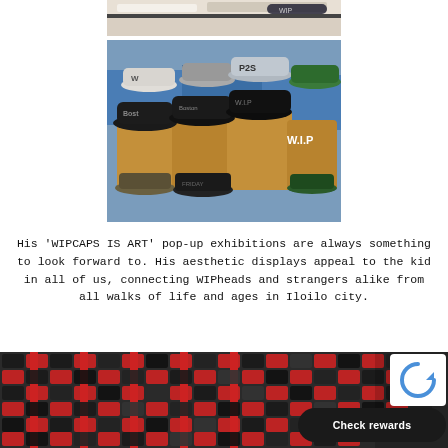[Figure (photo): Partial top photo showing hats/merchandise on a display shelf, cropped at top edge]
[Figure (photo): Photo of multiple fitted caps/hats displayed on cardboard box pedestals, various colors and designs including W, P2S, WIP, Boston logos]
His 'WIPCAPS IS ART' pop-up exhibitions are always something to look forward to. His aesthetic displays appeal to the kid in all of us, connecting WIPheads and strangers alike from all walks of life and ages in Iloilo city.
[Figure (photo): Bottom photo showing a large wall display of many caps/hats arranged in a grid pattern with red accents]
[Figure (other): Check rewards button with reCAPTCHA logo overlay in bottom right corner]